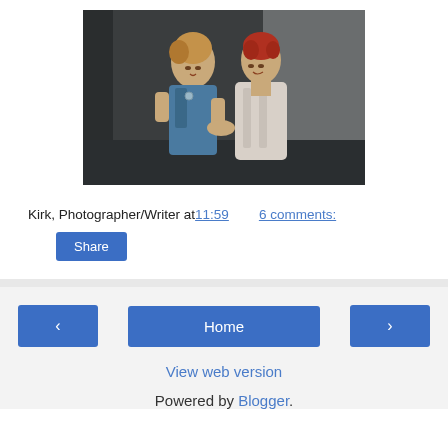[Figure (photo): Two women on stage — one in a blue dress with curly blonde hair, the other in a white fur coat with red hair, performing in a theater production.]
Kirk, Photographer/Writer at 11:59    6 comments:
Share
‹
Home
›
View web version
Powered by Blogger.